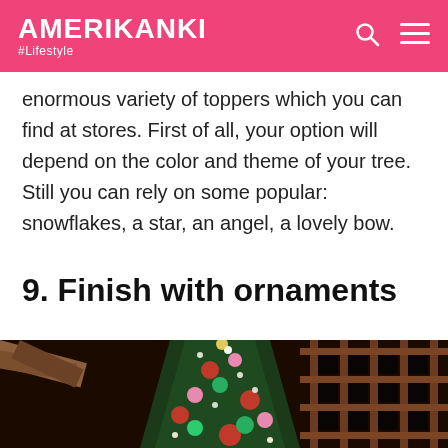AMERIKANKI #Lifestyle
enormous variety of toppers which you can find at stores. First of all, your option will depend on the color and theme of your tree. Still you can rely on some popular: snowflakes, a star, an angel, a lovely bow.
9. Finish with ornaments
[Figure (photo): Decorated Christmas tree with colorful ornaments (red, green, pink balls) photographed from below inside a building with wooden beams and geometric window grid in the background.]